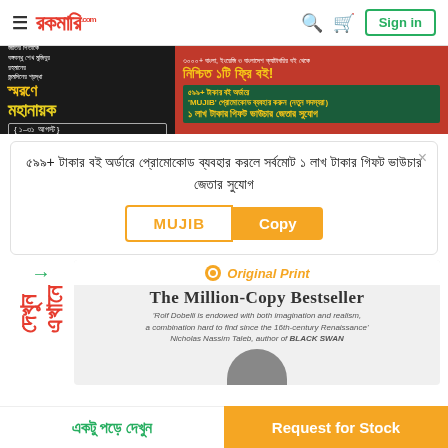Rokomari.com navigation bar with hamburger menu, logo, search, cart, and Sign in button
[Figure (infographic): Promotional banner for 'Mahanayak' event (1-31 August) with offer: use promo on 599+ BDT book orders to win 1 lakh taka gift voucher. Features decorative face illustration.]
৫৯৯+ টাকার বই অর্ডারে প্রোমোকোড ব্যবহার করলে সর্বমোট ১ লাখ টাকার গিফট ভাউচার জেতার সুযোগ
MUJIB | Copy
[Figure (screenshot): Book card for 'The Million-Copy Bestseller' with Original Print label and quote from Nicholas Nassim Taleb about Rolf Dobelli]
একটু পড়ে দেখুন | Request for Stock